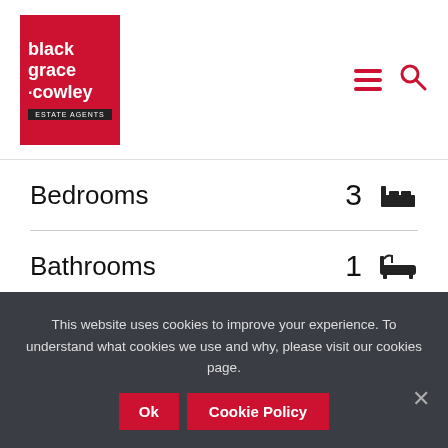[Figure (logo): Black Grace Cowley Estate Agents logo - red square background with white text]
|  |  |  |
| --- | --- | --- |
| Bedrooms | 3 | 🛏 |
| Bathrooms | 1 | 🛁 |
| Receptions | 1 | 🛋 |
This website uses cookies to improve your experience. To understand what cookies we use and why, please visit our cookies page.
Ok   Cookie Policy